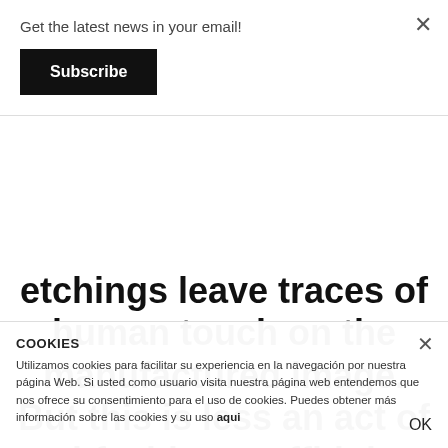Get the latest news in your email!
Subscribe
etchings leave traces of human touch on the manufactured image. But this is less an act of anti-fashion graffiti than an exposure of what lies beneath the surface. Haynes speaks to us about fashion versus art, symbolic inscription, and her dreams of a lifetime of doodling.
COOKIES
Utilizamos cookies para facilitar su experiencia en la navegación por nuestra página Web. Si usted como usuario visita nuestra página web entendemos que nos ofrece su consentimiento para el uso de cookies. Puedes obtener más información sobre las cookies y su uso aqui
OK